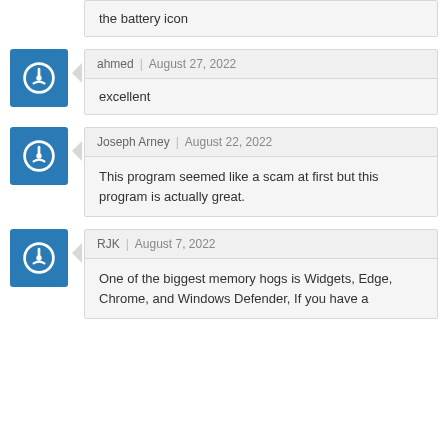the battery icon
ahmed | August 27, 2022
excellent
Joseph Arney | August 22, 2022
This program seemed like a scam at first but this program is actually great.
RJK | August 7, 2022
One of the biggest memory hogs is Widgets, Edge, Chrome, and Windows Defender, If you have a